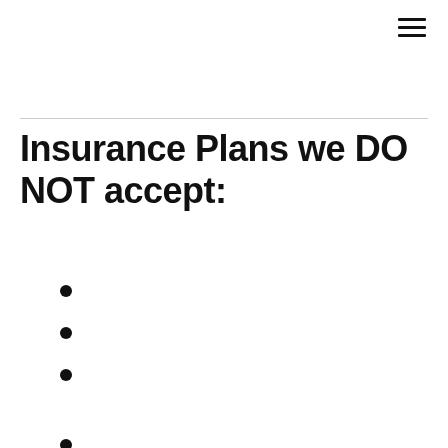Insurance Plans we DO NOT accept: